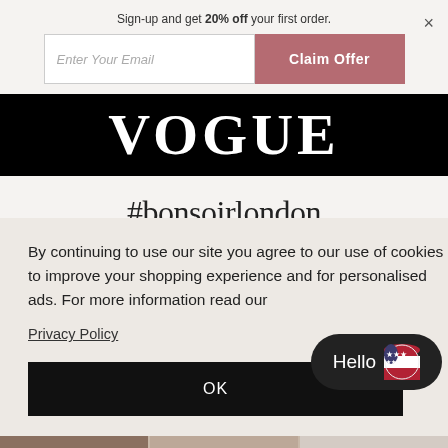Sign-up and get 20% off your first order.
Enter Your Email
Claim Offer
[Figure (logo): VOGUE magazine logo in white serif font on black background]
#bonsoirlondon
By continuing to use our site you agree to our use of cookies to improve your shopping experience and for personalised ads. For more information read our
Privacy Policy
OK
Hello